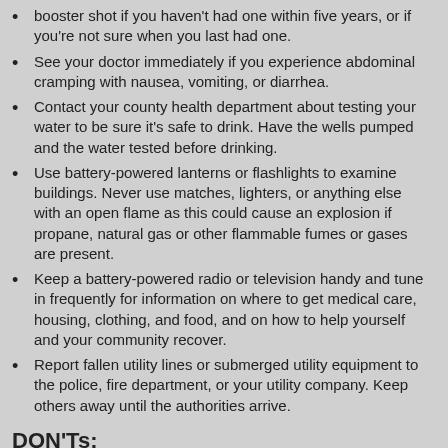booster shot if you haven't had one within five years, or if you're not sure when you last had one.
See your doctor immediately if you experience abdominal cramping with nausea, vomiting, or diarrhea.
Contact your county health department about testing your water to be sure it's safe to drink. Have the wells pumped and the water tested before drinking.
Use battery-powered lanterns or flashlights to examine buildings. Never use matches, lighters, or anything else with an open flame as this could cause an explosion if propane, natural gas or other flammable fumes or gases are present.
Keep a battery-powered radio or television handy and tune in frequently for information on where to get medical care, housing, clothing, and food, and on how to help yourself and your community recover.
Report fallen utility lines or submerged utility equipment to the police, fire department, or your utility company. Keep others away until the authorities arrive.
DON'Ts:
Don't eat food that has come in contact with flood water.
Don't use oil or gas lanterns or torches, matches, lighters, or anything else with an open flame that could cause dangerous flammables present in the home to explode.